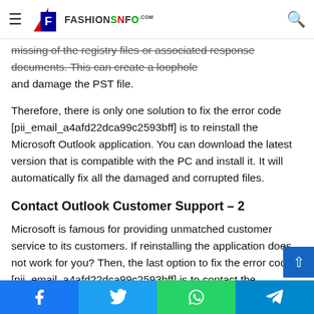FashionSInfo
missing of the registry files or associated response documents. This can create a loophole and damage the PST file.
Therefore, there is only one solution to fix the error code [pii_email_a4afd22dca99c2593bff] is to reinstall the Microsoft Outlook application. You can download the latest version that is compatible with the PC and install it. It will automatically fix all the damaged and corrupted files.
Contact Outlook Customer Support – 2
Microsoft is famous for providing unmatched customer service to its customers. If reinstalling the application does not work for you? Then, the last option to fix the error code [pii_email_a4afd22dca99c2593bff] is to contact the customer
Facebook Twitter WhatsApp Telegram